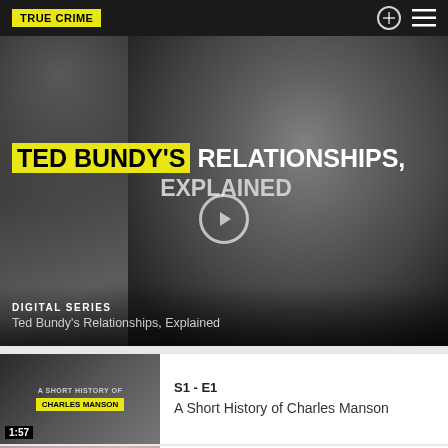TRUE CRIME
TED BUNDY'S RELATIONSHIPS, EXPLAINED
DIGITAL SERIES
Ted Bundy's Relationships, Explained
S1 - E1
A Short History of Charles Manson
1:57
S1 - E2
The Casey Anthony Case, Explained